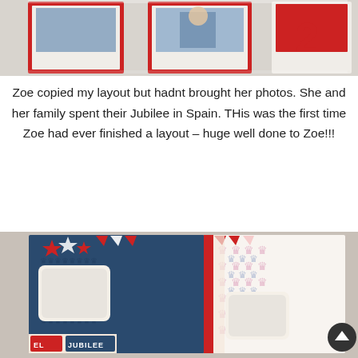[Figure (photo): Photo of scrapbook pages in plastic sleeves showing red, white and blue sports card layouts on a table]
Zoe copied my layout but hadnt brought her photos. She and her family spent their Jubilee in Spain. THis was the first time Zoe had ever finished a layout – huge well done to Zoe!!!
[Figure (photo): Photo of a completed scrapbook layout with navy blue background, red and white star decorations, crown patterned paper, and text reading EL JUBILEE]